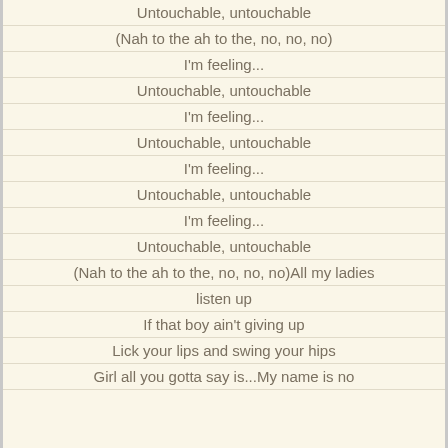Untouchable, untouchable
(Nah to the ah to the, no, no, no)
I'm feeling...
Untouchable, untouchable
I'm feeling...
Untouchable, untouchable
I'm feeling...
Untouchable, untouchable
I'm feeling...
Untouchable, untouchable
(Nah to the ah to the, no, no, no)All my ladies
listen up
If that boy ain't giving up
Lick your lips and swing your hips
Girl all you gotta say is...My name is no